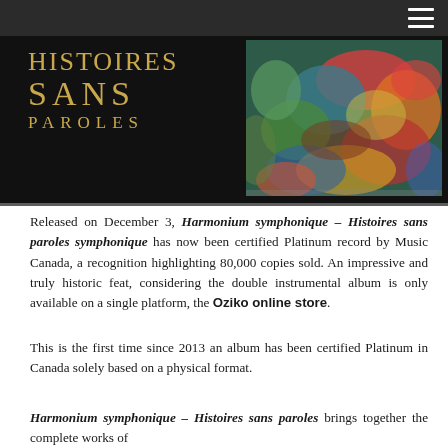[Figure (illustration): Album cover image for 'Histoires Sans Paroles' showing gold/metallic serif title text on dark background on the left, and an abstract colorful painting (reds, blues, greens, yellows) on the right.]
Released on December 3, Harmonium symphonique – Histoires sans paroles symphonique has now been certified Platinum record by Music Canada, a recognition highlighting 80,000 copies sold. An impressive and truly historic feat, considering the double instrumental album is only available on a single platform, the Oziko online store.
This is the first time since 2013 an album has been certified Platinum in Canada solely based on a physical format.
Harmonium symphonique – Histoires sans paroles brings together the complete works of